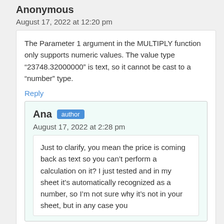Anonymous
August 17, 2022 at 12:20 pm
The Parameter 1 argument in the MULTIPLY function only supports numeric values. The value type “23748.32000000” is text, so it cannot be cast to a “number” type.
Reply
Ana author
August 17, 2022 at 2:28 pm
Just to clarify, you mean the price is coming back as text so you can’t perform a calculation on it? I just tested and in my sheet it’s automatically recognized as a number, so I’m not sure why it’s not in your sheet, but in any case you